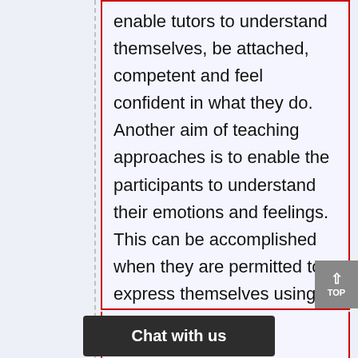enable tutors to understand themselves, be attached, competent and feel confident in what they do. Another aim of teaching approaches is to enable the participants to understand their emotions and feelings. This can be accomplished when they are permitted to express themselves using verbal and non verbal cues.
To eff...acher